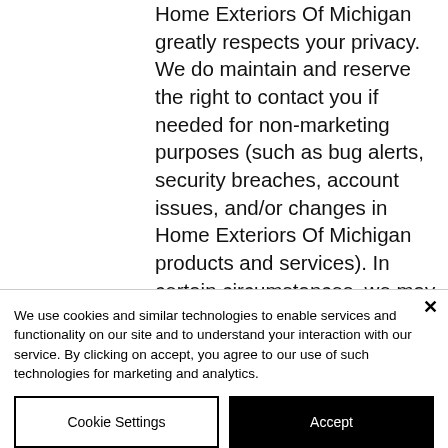Home Exteriors Of Michigan greatly respects your privacy. We do maintain and reserve the right to contact you if needed for non-marketing purposes (such as bug alerts, security breaches, account issues, and/or changes in Home Exteriors Of Michigan products and services). In certain circumstances, we may use our website, newspapers, or other public means to post a notice. Children under the age of 13 Home Exteriors Of
We use cookies and similar technologies to enable services and functionality on our site and to understand your interaction with our service. By clicking on accept, you agree to our use of such technologies for marketing and analytics.